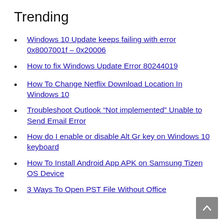Trending
Windows 10 Update keeps failing with error 0x8007001f – 0x20006
How to fix Windows Update Error 80244019
How To Change Netflix Download Location In Windows 10
Troubleshoot Outlook “Not implemented” Unable to Send Email Error
How do I enable or disable Alt Gr key on Windows 10 keyboard
How To Install Android App APK on Samsung Tizen OS Device
3 Ways To Open PST File Without Office